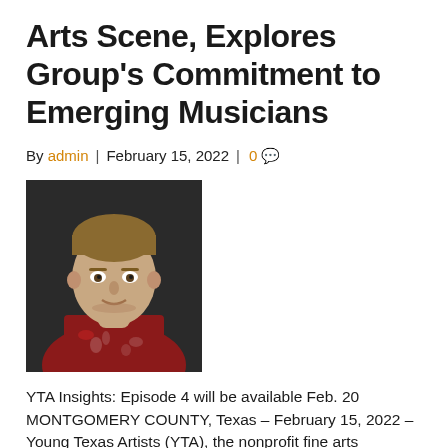Arts Scene, Explores Group's Commitment to Emerging Musicians
By admin | February 15, 2022 | 0 💬
[Figure (photo): Headshot of a man with short blond hair wearing a red floral-patterned shirt, smiling slightly against a dark background.]
YTA Insights: Episode 4 will be available Feb. 20 MONTGOMERY COUNTY, Texas – February 15, 2022 – Young Texas Artists (YTA), the nonprofit fine arts organization best known for the YTA Music Competition